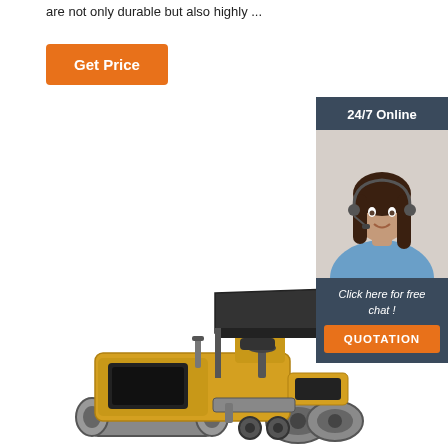are not only durable but also highly ...
Get Price
24/7 Online
[Figure (photo): Customer service representative with headset, smiling, wearing blue shirt]
Click here for free chat !
QUOTATION
[Figure (photo): Yellow road roller / compactor construction machine]